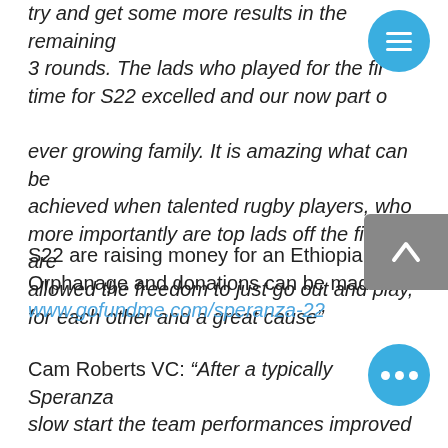try and get some more results in the remaining 3 rounds. The lads who played for the first time for S22 excelled and our now part of our ever growing family. It is amazing what can be achieved when talented rugby players, who more importantly are top lads off the field, are allowed the freedom to just go out and play, for each other and a great cause"
S22 are raising money for an Ethiopian Orphanage and donations can be mad at www.gofundme.com/speranza-22
Cam Roberts VC: “After a typically Speranza slow start the team performances improved as the day went on and the new players bedded in. We felt like we deserved to come away with silverware but 7’s isn’t always fair and a run of cruel injuries meant finishing the